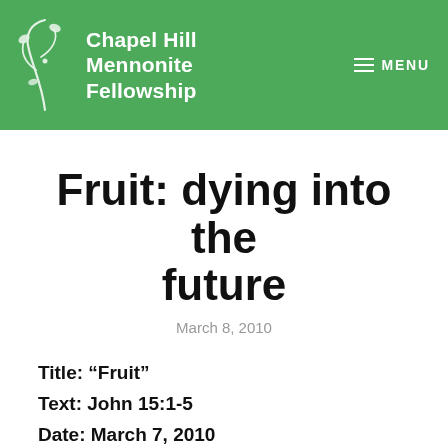Chapel Hill Mennonite Fellowship  MENU
Fruit: dying into the future
March 8, 2010
Title: “Fruit”
Text: John 15:1-5
Date: March 7, 2010
Event: Ervin Stutzman’s installation